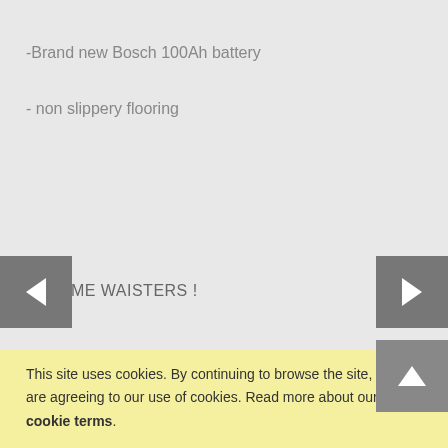-Brand new Bosch 100Ah battery
- non slippery flooring
NO TIME WAISTERS !
Feel free to contact me : onthegrill12@gmail.com
This site uses cookies. By continuing to browse the site, you are agreeing to our use of cookies. Read more about our cookie terms.